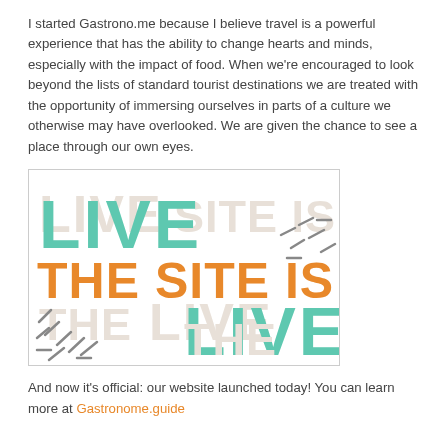I started Gastrono.me because I believe travel is a powerful experience that has the ability to change hearts and minds, especially with the impact of food. When we're encouraged to look beyond the lists of standard tourist destinations we are treated with the opportunity of immersing ourselves in parts of a culture we otherwise may have overlooked. We are given the chance to see a place through our own eyes.
[Figure (infographic): Promotional graphic with overlapping text reading 'THE SITE IS LIVE' in teal/green and orange bold letters, with decorative dash marks scattered around on a white background.]
And now it's official: our website launched today! You can learn more at Gastronome.guide